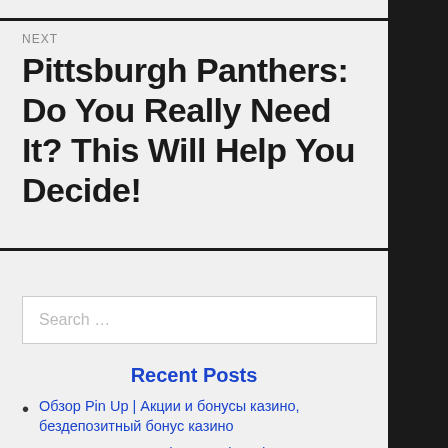NEXT
Pittsburgh Panthers: Do You Really Need It? This Will Help You Decide!
Search …
Recent Posts
Обзор Pin Up | Акции и бонусы казино, бездепозитный бонус казино
How To Improve At detox tea brands In 60 Minutes